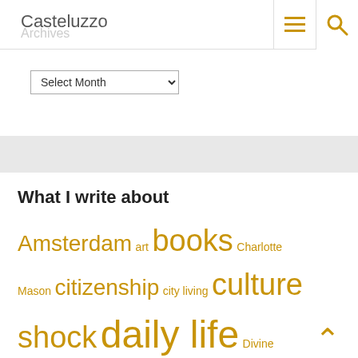Casteluzzo
Archives
Select Month
What I write about
Amsterdam art books Charlotte Mason citizenship city living culture shock daily life Divine Feminine Doctor Who Dutch education expat issues expat life family Florida food foreign language